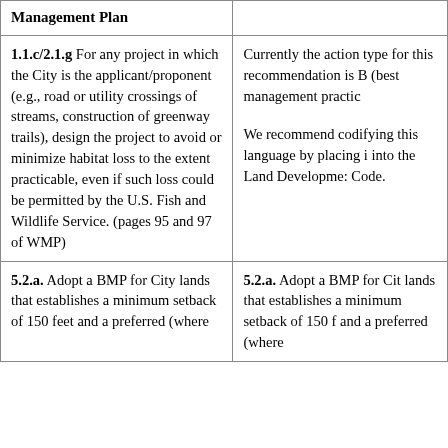| Management Plan |  |
| --- | --- |
| 1.1.c/2.1.g For any project in which the City is the applicant/proponent (e.g., road or utility crossings of streams, construction of greenway trails), design the project to avoid or minimize habitat loss to the extent practicable, even if such loss could be permitted by the U.S. Fish and Wildlife Service. (pages 95 and 97 of WMP) | Currently the action type for this recommendation is BMP (best management practice)...

We recommend codifying this language by placing it into the Land Development Code. |
| 5.2.a. Adopt a BMP for City lands that establishes a minimum setback of 150 feet and a preferred (where | 5.2.a. Adopt a BMP for City lands that establishes a minimum setback of 150 feet and a preferred (where |